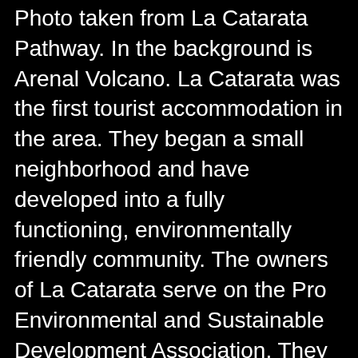Photo taken from La Catarata Pathway. In the background is Arenal Volcano. La Catarata was the first tourist accommodation in the area. They began a small neighborhood and have developed into a fully functioning, environmentally friendly community. The owners of La Catarata serve on the Pro Environmental and Sustainable Development Association. They have helped develop the area in environmentally friendly ways and have taught many in the ways of the environment.